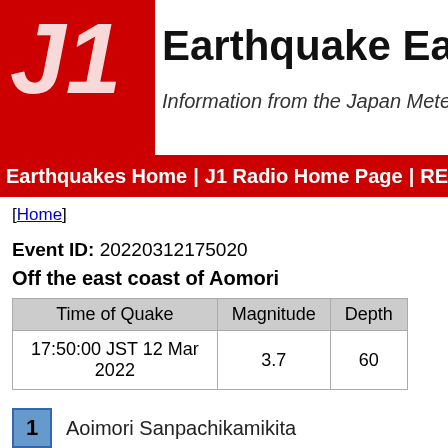[Figure (logo): J1 Earthquake Early Warning logo with red block and J1 text, with subtitle: Information from the Japan Meteorological Agency (JMA)]
Earthquakes Home | J1 Radio Home Page | REC Net
[Home]
Event ID: 20220312175020
Off the east coast of Aomori
| Time of Quake | Magnitude | Depth |
| --- | --- | --- |
| 17:50:00 JST 12 Mar 2022 | 3.7 | 60 |
1  Aoimori Sanpachikamikita